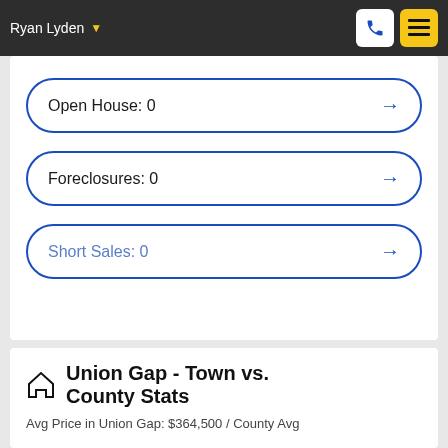Ryan Lyden
Open House: 0
Foreclosures: 0
Short Sales: 0
Union Gap - Town vs. County Stats
Avg Price in Union Gap: $364,500 / County Avg